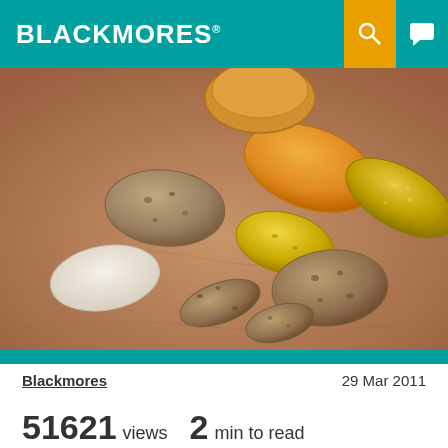BLACKMORES
[Figure (photo): A hand holding multiple nutritional supplement tablets and capsules of various sizes and colors including white, beige/brown, yellow, and gold.]
Blackmores    29 Mar 2011
51621 views   2 min to read